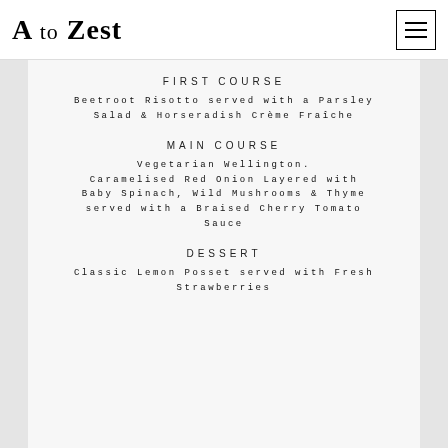A to Zest
FIRST COURSE
Beetroot Risotto served with a Parsley Salad & Horseradish Crème Fraîche
MAIN COURSE
Vegetarian Wellington. Caramelised Red Onion Layered with Baby Spinach, Wild Mushrooms & Thyme served with a Braised Cherry Tomato Sauce
DESSERT
Classic Lemon Posset served with Fresh Strawberries